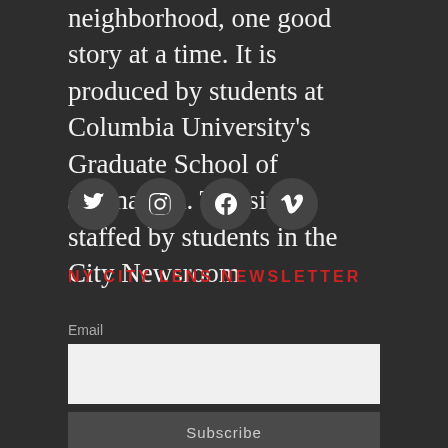neighborhood, one good story at a time. It is produced by students at Columbia University's Graduate School of Journalism. The site is staffed by students in the City Newsroom
[Figure (infographic): Four social media icon circles: Twitter, Instagram, Facebook, Vimeo]
NY CITY LENS NEWSLETTER
Email
[Figure (other): Email input text field box]
Subscribe